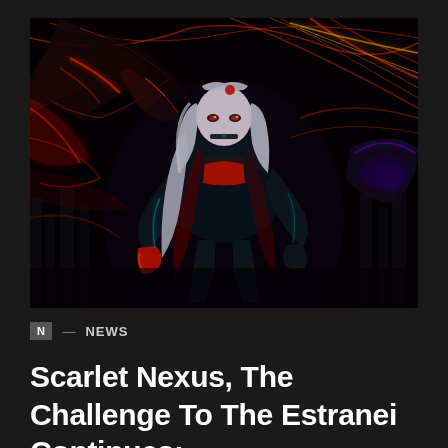[Figure (illustration): Anime-style illustration of a white-haired female character in a black and red combat suit, surrounded by dramatic red and gold energy streaks against a dark background. A dark creature/entity looms in the upper left.]
N — NEWS
Scarlet Nexus, The Challenge To The Estranei Continues: